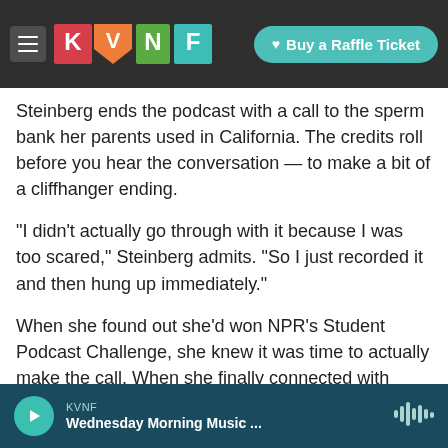[Figure (screenshot): KVNF radio website header with hamburger menu, KVNF colorful block logo, and teal 'Buy a Raffle Ticket' button on dark rocky background]
Steinberg ends the podcast with a call to the sperm bank her parents used in California. The credits roll before you hear the conversation – to make a bit of a cliffhanger ending.
"I didn't actually go through with it because I was too scared," Steinberg admits. "So I just recorded it and then hung up immediately."
When she found out she'd won NPR's Student Podcast Challenge, she knew it was time to actually make the call. When she finally connected with someone at the organization, she discovered
KVNF
Wednesday Morning Music ...